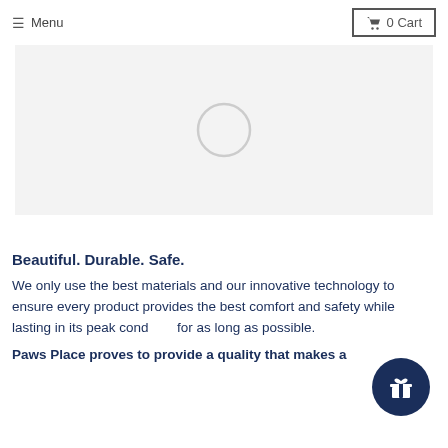≡ Menu   🛒 0 Cart
[Figure (other): Light gray rectangular image placeholder with a faint circle/loading indicator in the center]
Beautiful. Durable. Safe.
We only use the best materials and our innovative technology to ensure every product provides the best comfort and safety while lasting in its peak condition for as long as possible.
Paws Place proves to provide a quality that makes a